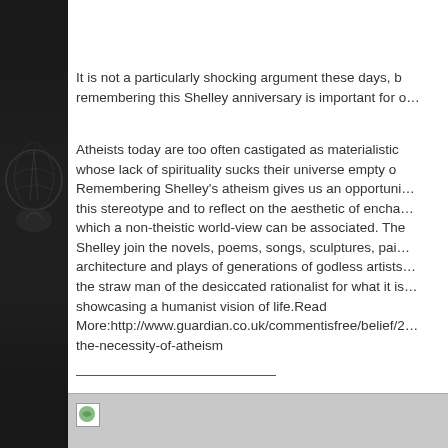[Figure (photo): Dark left panel with a decorative illustration, possibly a globe or mythological figure, in dark tones]
It is not a particularly shocking argument these days, b… remembering this Shelley anniversary is important for o…
Atheists today are too often castigated as materialistic whose lack of spirituality sucks their universe empty of Remembering Shelley's atheism gives us an opportuni… this stereotype and to reflect on the aesthetic of encha… which a non-theistic world-view can be associated. The Shelley join the novels, poems, songs, sculptures, pai… architecture and plays of generations of godless artists the straw man of the desiccated rationalist for what it is showcasing a humanist vision of life.Read More:http://www.guardian.co.uk/commentisfree/belief/2… the-necessity-of-atheism
[Figure (illustration): Small image icon in the bottom grey bar area]